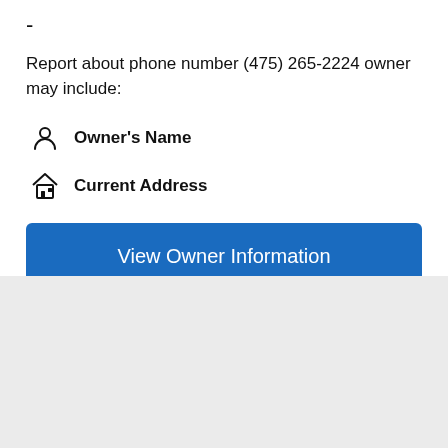-
Report about phone number (475) 265-2224 owner may include:
Owner's Name
Current Address
View Owner Information